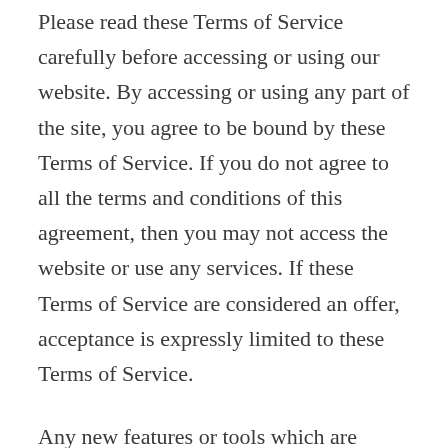Please read these Terms of Service carefully before accessing or using our website. By accessing or using any part of the site, you agree to be bound by these Terms of Service. If you do not agree to all the terms and conditions of this agreement, then you may not access the website or use any services. If these Terms of Service are considered an offer, acceptance is expressly limited to these Terms of Service.
Any new features or tools which are added to the current store shall also be subject to the Terms of Service. You can review the most current version of the Terms of Service at any time on this page. We reserve the right to update, change or replace any part of these Terms of Service by posting updates and/or changes to our website. It is your responsibility to check this page periodically for changes.